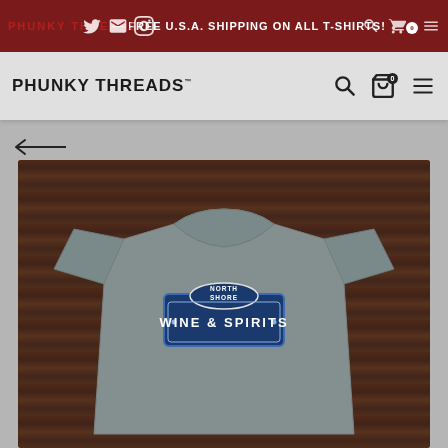PHUNKY THREADS™ — FREE U.S.A. SHIPPING ON ALL T-SHIRTS!
PHUNKY THREADS™
[Figure (photo): A grey t-shirt with a 'North Shore Wine & Spirits' logo printed on the chest, displayed on a dark wood background.]